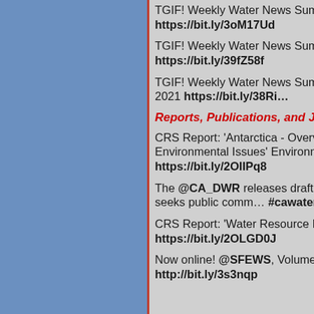[Figure (other): Blue sidebar panel on the left side of the page]
TGIF! Weekly Water News Summ... https://bit.ly/3oM17Ud
TGIF! Weekly Water News Summ... https://bit.ly/39fZ58f
TGIF! Weekly Water News Summ... January 2021 https://bit.ly/38Ri...
Reports, Publications, and Jou...
CRS Report: 'Antarctica - Overvi... Environmental Issues' Environme... https://bit.ly/2OIIPq8
The @CA_DWR releases draft u... groundwater, seeks public comm... #cawater
CRS Report: 'Water Resource Iss... https://bit.ly/2OLGD0J
Now online! @SFEWS, Volume 1... http://bit.ly/3s3nqp